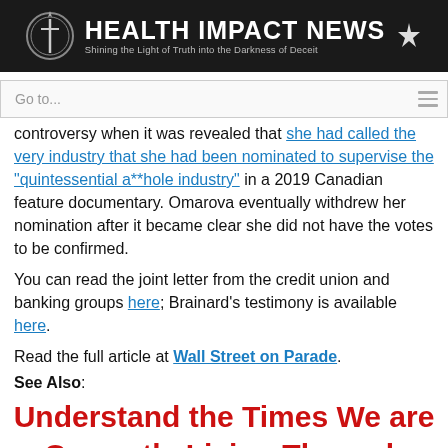HEALTH IMPACT NEWS — Shining the Light of Truth into the Darkness of Deceit
Go to...
controversy when it was revealed that she had called the very industry that she had been nominated to supervise the "quintessential a**hole industry" in a 2019 Canadian feature documentary. Omarova eventually withdrew her nomination after it became clear she did not have the votes to be confirmed.
You can read the joint letter from the credit union and banking groups here; Brainard's testimony is available here.
Read the full article at Wall Street on Parade.
See Also:
Understand the Times We are Currently Living Through